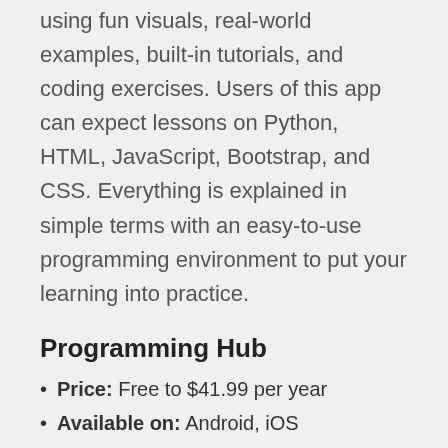using fun visuals, real-world examples, built-in tutorials, and coding exercises. Users of this app can expect lessons on Python, HTML, JavaScript, Bootstrap, and CSS. Everything is explained in simple terms with an easy-to-use programming environment to put your learning into practice.
Programming Hub
Price: Free to $41.99 per year
Available on: Android, iOS
The Programming Hub app offers many free courses that are split into bite-sized coding concepts to make